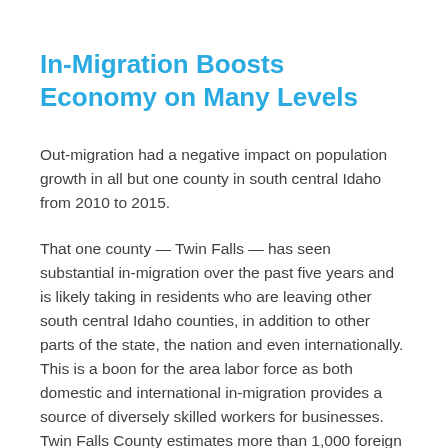In-Migration Boosts Economy on Many Levels
Out-migration had a negative impact on population growth in all but one county in south central Idaho from 2010 to 2015.
That one county — Twin Falls — has seen substantial in-migration over the past five years and is likely taking in residents who are leaving other south central Idaho counties, in addition to other parts of the state, the nation and even internationally. This is a boon for the area labor force as both domestic and international in-migration provides a source of diversely skilled workers for businesses. Twin Falls County estimates more than 1,000 foreign in-migration from 2010-2015. This addition of a vibrant, young population with the drive to rise above its previous generations, both